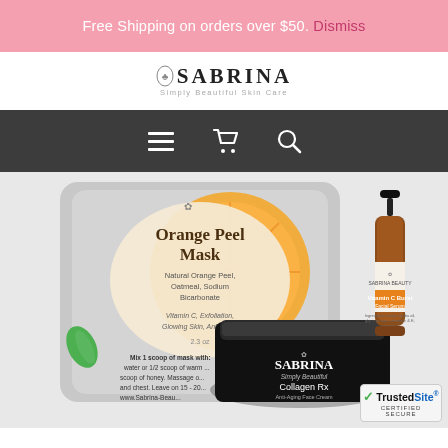Free Shipping on orders over $50. Dismiss
[Figure (logo): Sabrina Simply Beautiful Skin Care logo with decorative icon]
[Figure (infographic): Navigation bar with hamburger menu, shopping cart, and search icons on dark background]
[Figure (photo): Product photo showing Orange Peel Mask bag, Sabrina Collagen Rx face cream jar, and Sabrina Beauty Vitamin C Burst Facial Serum bottle with dropper]
[Figure (logo): TrustedSite Certified Secure badge]